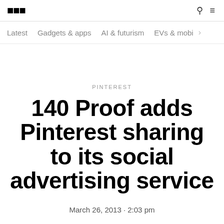THE VERGE
Latest  Gadgets & apps  AI & futurism  EVs & mobil >
PINTEREST
140 Proof adds Pinterest sharing to its social advertising service
March 26, 2013 - 2:03 pm